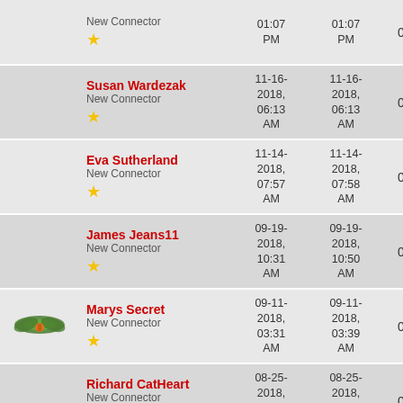| Avatar | User | Date Joined | Last Active | Col5 | Col6 |
| --- | --- | --- | --- | --- | --- |
|  | New Connector ★ | 01:07 PM | 01:07 PM | 0 | 0 |
|  | Susan Wardezak
New Connector ★ | 11-16-2018, 06:13 AM | 11-16-2018, 06:13 AM | 0 | 0 |
|  | Eva Sutherland
New Connector ★ | 11-14-2018, 07:57 AM | 11-14-2018, 07:58 AM | 0 | 0 |
|  | James Jeans11
New Connector ★ | 09-19-2018, 10:31 AM | 09-19-2018, 10:50 AM | 0 | 0 |
| (avatar) | Marys Secret
New Connector ★ | 09-11-2018, 03:31 AM | 09-11-2018, 03:39 AM | 0 | 0 |
|  | Richard CatHeart
New Connector ★ | 08-25-2018, 07:52 AM | 08-25-2018, 08:02 AM | 0 | 0 |